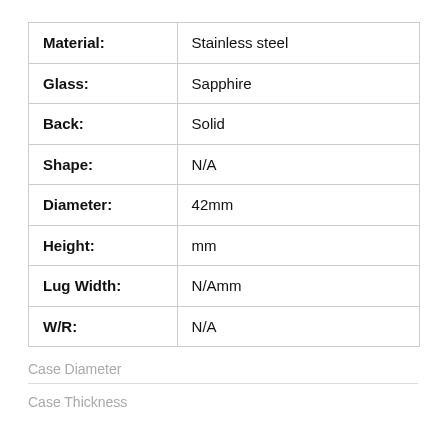| Property | Value |
| --- | --- |
| Material: | Stainless steel |
| Glass: | Sapphire |
| Back: | Solid |
| Shape: | N/A |
| Diameter: | 42mm |
| Height: | mm |
| Lug Width: | N/Amm |
| W/R: | N/A |
Case Diameter
Case Thickness